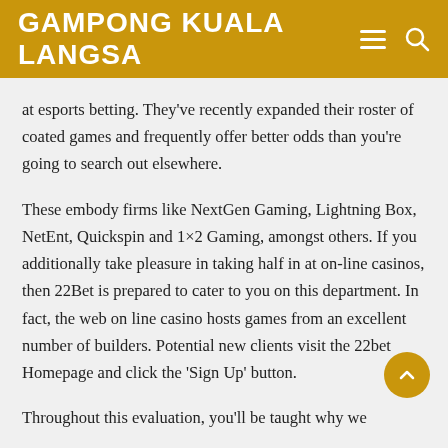GAMPONG KUALA LANGSA
at esports betting. They've recently expanded their roster of coated games and frequently offer better odds than you're going to search out elsewhere.
These embody firms like NextGen Gaming, Lightning Box, NetEnt, Quickspin and 1×2 Gaming, amongst others. If you additionally take pleasure in taking half in at on-line casinos, then 22Bet is prepared to cater to you on this department. In fact, the web on line casino hosts games from an excellent number of builders. Potential new clients visit the 22bet Homepage and click the 'Sign Up' button.
Throughout this evaluation, you'll be taught why we